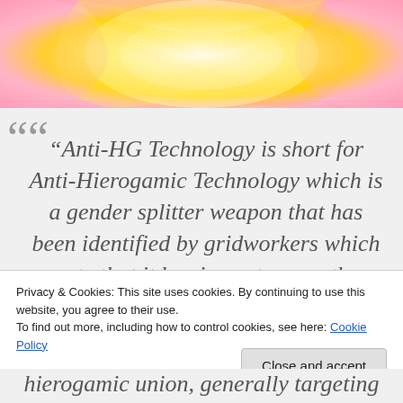[Figure (illustration): Abstract colorful mandala-like image with yellow, pink, and white tones, cropped at top of page]
““
“Anti-HG Technology is short for Anti-Hierogamic Technology which is a gender splitter weapon that has been identified by gridworkers which note that it has impacts upon the Lightbody and is a hierogamic union, generally targeting
Privacy & Cookies: This site uses cookies. By continuing to use this website, you agree to their use.
To find out more, including how to control cookies, see here: Cookie Policy
Close and accept